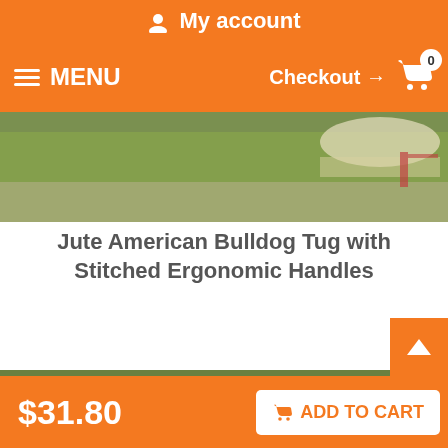My account
MENU | Checkout → 0
[Figure (photo): Cropped outdoor photo showing grass and natural background, partial view of a dog and object at top edge]
Jute American Bulldog Tug with Stitched Ergonomic Handles
[Figure (photo): Two women in a field with an American Bulldog, playing tug with a jute toy. Watermark reads WWW.FORDOGTRAINERS.COM]
$31.80
ADD TO CART